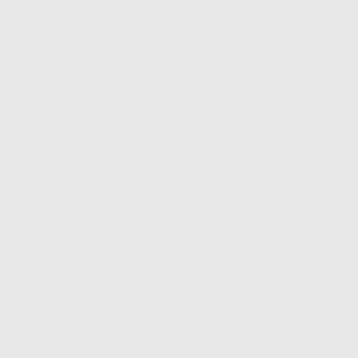1A90335 [highlighted] DR
1B30023H01 Westinghouse WDR
1C31025G02 Westinghouse WDR
1C31025G03 Westinghouse WDR
1C31025G05 Westinghouse WDR
1C31025G06 Westinghouse WDR
1C31025G09 Westinghouse WDR
1D54416G01 Westinghouse WDR
1D54430H01 Westinghouse WDR
1D54458G01 Westinghouse WDR
1D54458G02 Westinghouse WDR
1D54471G02 Westinghouse WDR
1D54471G03 Westinghouse WDR
1D54540G01 Westinghouse WDR
1D54544G01 Westinghouse WDR
1D54561G01 Westinghouse WDR
1D54561G02 Westinghouse WDR
1D54574G01 Westinghouse WDR